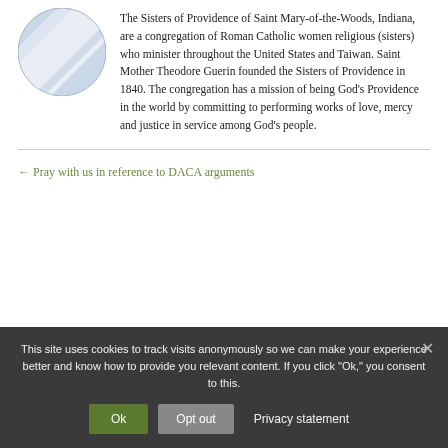[Figure (logo): Circular logo with blue/white diagonal stripe pattern on a light blue background, representing the Sisters of Providence]
The Sisters of Providence of Saint Mary-of-the-Woods, Indiana, are a congregation of Roman Catholic women religious (sisters) who minister throughout the United States and Taiwan. Saint Mother Theodore Guerin founded the Sisters of Providence in 1840. The congregation has a mission of being God's Providence in the world by committing to performing works of love, mercy and justice in service among God's people.
← Pray with us in reference to DACA arguments
This site uses cookies to track visits anonymously so we can make your experience better and know how to provide you relevant content. If you click "Ok," you consent to this.